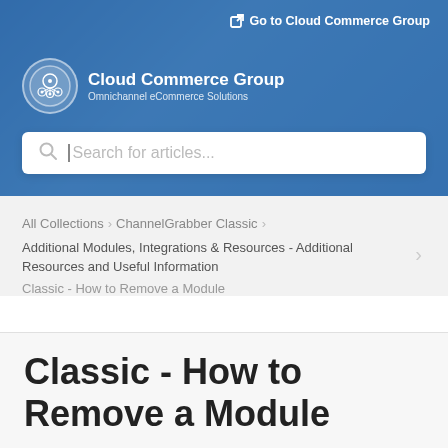Go to Cloud Commerce Group
[Figure (logo): Cloud Commerce Group logo - circle icon with network/cloud imagery]
Cloud Commerce Group
Omnichannel eCommerce Solutions
Search for articles...
All Collections > ChannelGrabber Classic >
Additional Modules, Integrations & Resources - Additional Resources and Useful Information
Classic - How to Remove a Module
Classic - How to Remove a Module